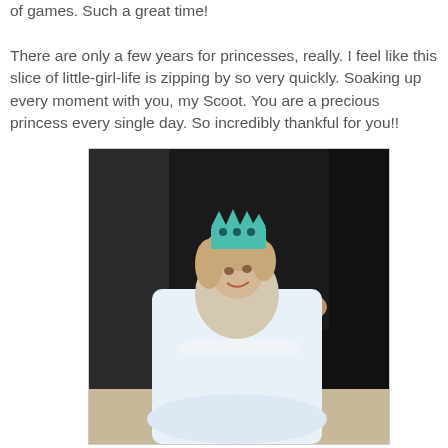of games. Such a great time!

There are only a few years for princesses, really. I feel like this slice of little-girl-life is zipping by so very quickly. Soaking up every moment with you, my Scoot. You are a precious princess every single day. So incredibly thankful for you!!
[Figure (photo): A young girl in a white princess dress wearing a teal/turquoise paper crown, looking up and smiling. An adult's hands are visible on her shoulders. The background is dark.]